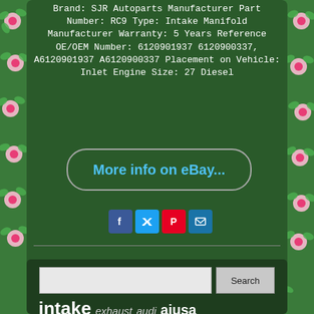Brand: SJR Autoparts Manufacturer Part Number: RC9 Type: Intake Manifold Manufacturer Warranty: 5 Years Reference OE/OEM Number: 6120901937 6120900337, A6120901937 A6120900337 Placement on Vehicle: Inlet Engine Size: 27 Diesel
[Figure (screenshot): eBay link button with rounded rectangle border and blue text reading 'More info on eBay...']
[Figure (infographic): Social share icons: Facebook (blue), Twitter (light blue), Pinterest (red), Email (dark blue)]
[Figure (screenshot): Search bar with text input field and Search button]
intake  exhaust  audi  ajusa